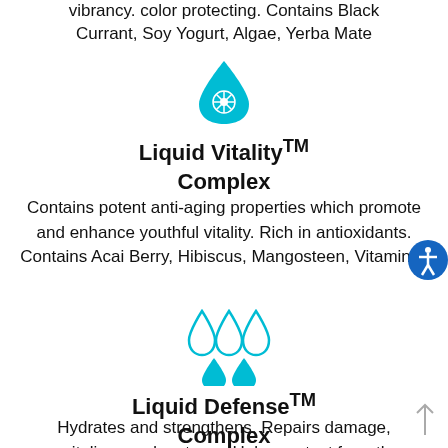vibrancy. color protecting. Contains Black Currant, Soy Yogurt, Algae, Yerba Mate
[Figure (illustration): Cyan water drop icon with a flower/snowflake pattern inside — Liquid Vitality Complex logo]
Liquid Vitality™ Complex
Contains potent anti-aging properties which promote and enhance youthful vitality. Rich in antioxidants. Contains Acai Berry, Hibiscus, Mangosteen, Vitamin C
[Figure (illustration): Three cyan water drop outlines (larger) with two solid cyan water drops below — Liquid Defense Complex logo]
Liquid Defense™ Complex
Hydrates and strengthens. Repairs damage, revitalizes and restores. Helps protect from the adverse effects of heat